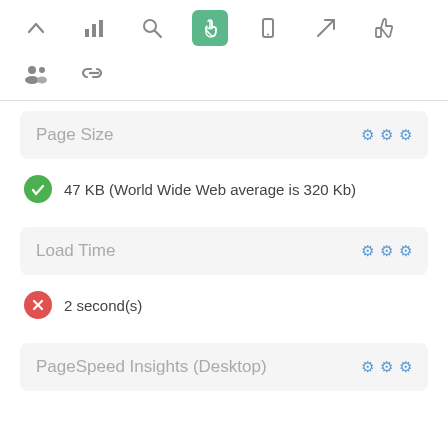[Figure (screenshot): Navigation toolbar row 1 with icons: up arrow, bar chart, search/magnifier, hand pointer (active, green background), mobile phone, rocket/send, thumbs up]
[Figure (screenshot): Navigation toolbar row 2 with icons: group/people, chain links]
Page Size ⚙⚙⚙
47 KB (World Wide Web average is 320 Kb)
Load Time ⚙⚙⚙
2 second(s)
PageSpeed Insights (Desktop) ⚙⚙⚙